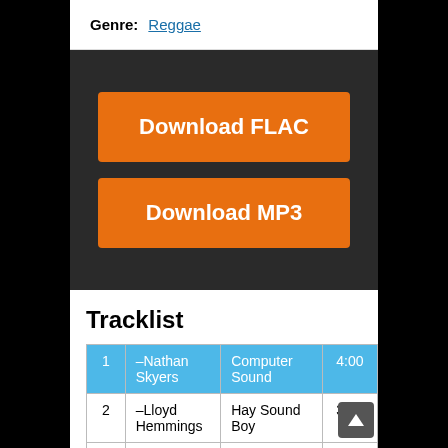Genre: Reggae
[Figure (other): Download FLAC button - orange rectangular button on dark background]
[Figure (other): Download MP3 button - orange rectangular button on dark background]
Tracklist
| # | Artist | Title | Duration |
| --- | --- | --- | --- |
| 1 | –Nathan Skyers | Computer Sound | 4:00 |
| 2 | –Lloyd Hemmings | Hay Sound Boy | 3:45 |
| 3 | –Tuffest | God Bless Pickney | 4:00 |